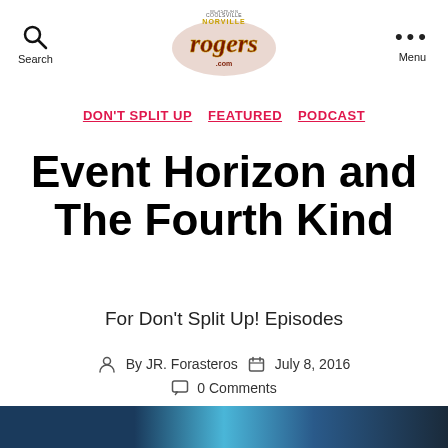Search | NorvilleRogers.com | Menu
DON'T SPLIT UP   FEATURED   PODCAST
Event Horizon and The Fourth Kind
For Don't Split Up! Episodes
By JR. Forasteros   July 8, 2016
0 Comments
[Figure (photo): Partial bottom strip image, dark blue/teal colors, appears to be a movie still or promotional image]